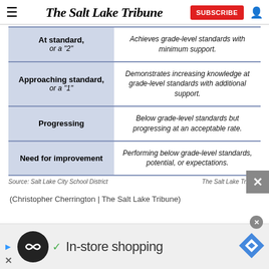The Salt Lake Tribune
| Standard Level | Description |
| --- | --- |
| At standard, or a "2" | Achieves grade-level standards with minimum support. |
| Approaching standard, or a "1" | Demonstrates increasing knowledge at grade-level standards with additional support. |
| Progressing | Below grade-level standards but progressing at an acceptable rate. |
| Need for improvement | Performing below grade-level standards, potential, or expectations. |
Source: Salt Lake City School District
The Salt Lake Tribune
(Christopher Cherrington | The Salt Lake Tribune)